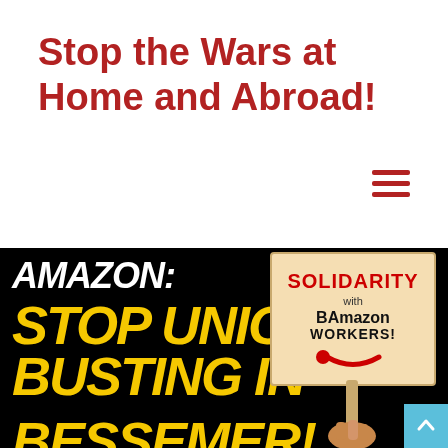Stop the Wars at Home and Abroad!
[Figure (illustration): Hamburger menu icon with three dark red horizontal lines]
[Figure (illustration): Black background protest graphic. Left side shows text: 'AMAZON: STOP UNION-BUSTING IN BESSEMER!' in white and yellow bold italic letters. Right side shows a hand holding a sign reading 'SOLIDARITY with BAmazon WORKERS!' with a red Amazon-style smile arrow beneath the text.]